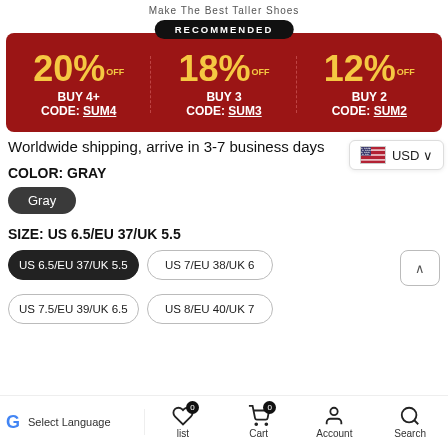Make The Best Taller Shoes
[Figure (infographic): Promotional banner showing three discount tiers on red background: 20% OFF BUY 4+ CODE: SUM4 (center/recommended), 18% OFF BUY 3 CODE: SUM3, 12% OFF BUY 2 CODE: SUM2]
Worldwide shipping, arrive in 3-7 business days
COLOR: GRAY
Gray
SIZE: US 6.5/EU 37/UK 5.5
US 6.5/EU 37/UK 5.5
US 7/EU 38/UK 6
US 7.5/EU 39/UK 6.5
US 8/EU 40/UK 7
Select Language | list | Cart | Account | Search